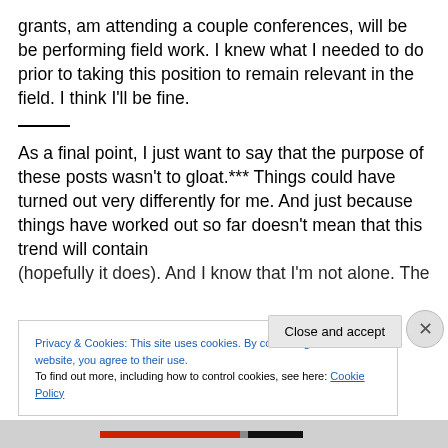grants, am attending a couple conferences, will be be performing field work. I knew what I needed to do prior to taking this position to remain relevant in the field. I think I'll be fine.
As a final point, I just want to say that the purpose of these posts wasn't to gloat.*** Things could have turned out very differently for me. And just because things have worked out so far doesn't mean that this trend will contain (hopefully it does). And I know that I'm not alone. The
Privacy & Cookies: This site uses cookies. By continuing to use this website, you agree to their use.
To find out more, including how to control cookies, see here: Cookie Policy
Close and accept